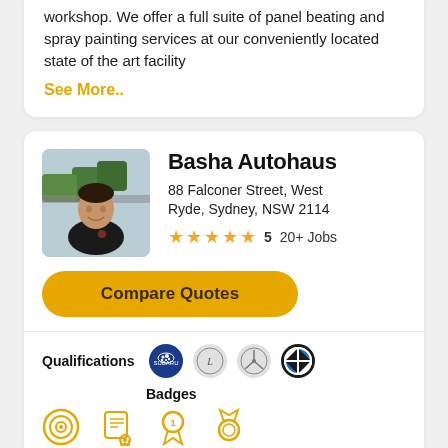workshop. We offer a full suite of panel beating and spray painting services at our conveniently located state of the art facility
See More..
Basha Autohaus
88 Falconer Street, West Ryde, Sydney, NSW 2114
5  20+ Jobs
Compare Quotes
Qualifications
[Figure (logo): Subaru logo]
[Figure (logo): Lexus logo]
[Figure (logo): Mercedes-Benz logo]
[Figure (logo): BMW logo]
Badges
[Figure (illustration): Four badge/award icons in orange/yellow outline style]